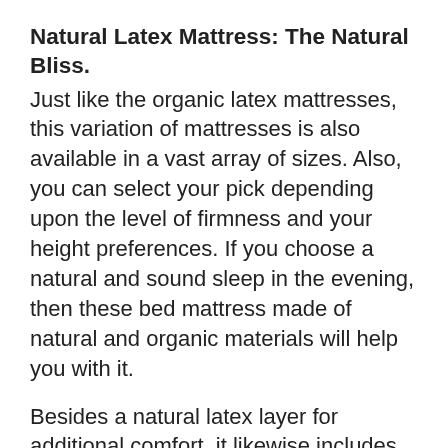Natural Latex Mattress: The Natural Bliss.
Just like the organic latex mattresses, this variation of mattresses is also available in a vast array of sizes. Also, you can select your pick depending upon the level of firmness and your height preferences. If you choose a natural and sound sleep in the evening, then these bed mattress made of natural and organic materials will help you with it.
Besides a natural latex layer for additional comfort, it likewise includes an eco-fire barrier. The organic cotton cover of the product prefers the absorption of wetness together with an uninterrupted airflow. With its protection from herbicides and pesticides,